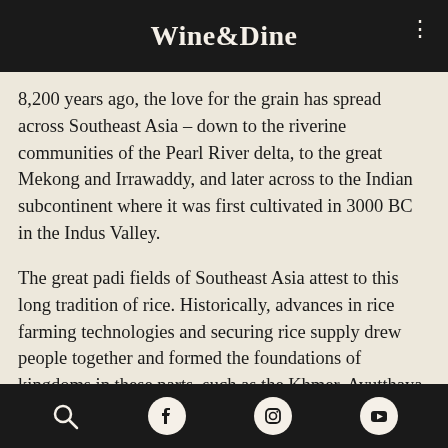Wine&Dine
8,200 years ago, the love for the grain has spread across Southeast Asia – down to the riverine communities of the Pearl River delta, to the great Mekong and Irrawaddy, and later across to the Indian subcontinent where it was first cultivated in 3000 BC in the Indus Valley.
The great padi fields of Southeast Asia attest to this long tradition of rice. Historically, advances in rice farming technologies and securing rice supply drew people together and formed the foundations of kingdoms in these parts, such as the Khmer, Ayutthaya and Sukothai kingdoms. The padi fields of ancient Angkor boasted three or four harvests a year and fed its glorious kingdom, and fertile plains of the Chao Phraya, with its muang-fai
search, facebook, instagram, youtube icons